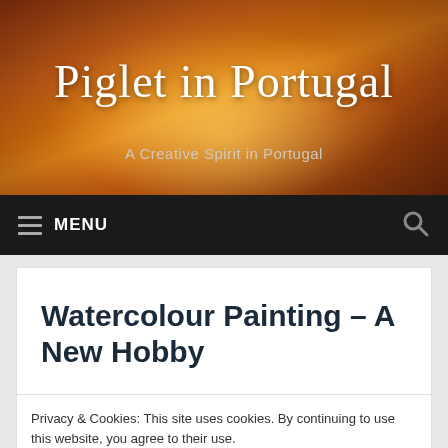[Figure (photo): Website header banner with orange/brown sunset sky and clouds background]
Piglet in Portugal
A Creative Spirit in Portugal
MENU
Watercolour Painting – A New Hobby
Privacy & Cookies: This site uses cookies. By continuing to use this website, you agree to their use.
To find out more, including how to control cookies, see here: Cookie Policy
Close and accept
[Figure (photo): Partial view of a watercolour painting at the bottom of the page]